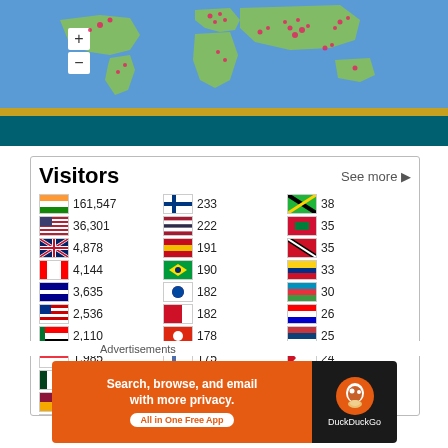[Figure (map): World map with blue background and pink/red dot markers indicating visitor locations across continents, with zoom controls (+/-) on the left side]
| Flag | Visitors | Flag | Visitors | Flag | Visitors |
| --- | --- | --- | --- | --- | --- |
| India | 161,547 | Finland | 233 | Tanzania | 38 |
| USA | 36,301 | Thailand | 222 | Maldives | 35 |
| UK | 4,878 | Spain | 191 | Trinidad | 35 |
| Canada | 4,144 | Brazil | 190 | Colombia | 33 |
| Australia | 3,635 | South Korea | 182 | Azerbaijan | 30 |
| Malaysia | 2,536 | Bahrain | 182 | Croatia | 26 |
| UAE | 2,110 | Hong Kong | 178 | Serbia | 25 |
| Singapore | 1,985 | Norway | 175 | Jordan | 24 |
| Pakistan | 1,893 | Iran | 169 | Moldova | 24 |
| Sri Lanka | 1,715 | Mexico | 167 | Austria | 23 |
| Bangladesh | 1,701 | Mauritius | 162 | Puerto Rico | 23 |
Advertisements
[Figure (screenshot): DuckDuckGo advertisement: Search, browse, and email with more privacy. All in One Free App. DuckDuckGo logo on dark background.]